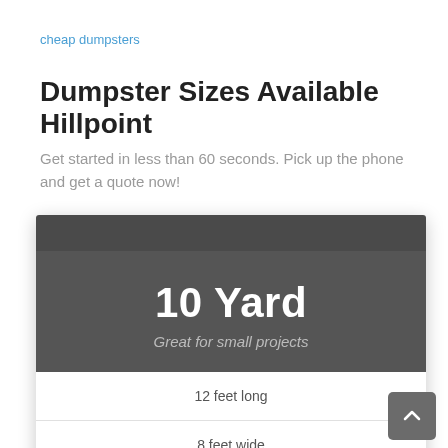cheap dumpsters
Dumpster Sizes Available Hillpoint
Get started in less than 60 seconds. Pick up the phone and get a quote now!
10 Yard
Great for small projects
12 feet long
8 feet wide